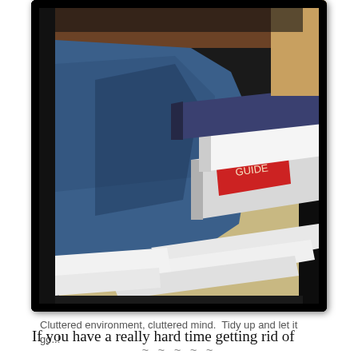[Figure (photo): A cluttered pile of books, binders, and loose papers on a floor next to what appears to be a denim-clad leg or bag. The image has a dark vignette border effect with a vintage/polaroid style treatment.]
Cluttered environment, cluttered mind.  Tidy up and let it go..!
~ ~ ~ ~ ~
If you have a really hard time getting rid of